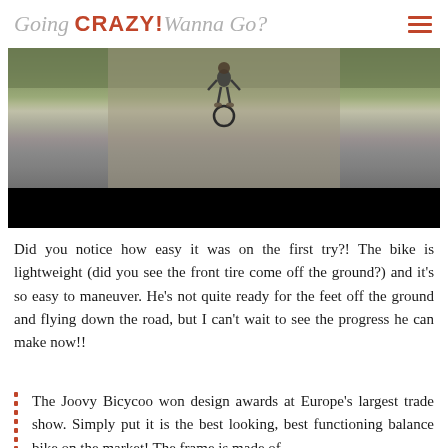Going CRAZY! Wanna Go?
[Figure (photo): Aerial/overhead view of a child riding a small balance bike on a dirt/gravel path surrounded by green grass. The lower portion of the image frame is black.]
Did you notice how easy it was on the first try?! The bike is lightweight (did you see the front tire come off the ground?) and it's so easy to maneuver. He's not quite ready for the feet off the ground and flying down the road, but I can't wait to see the progress he can make now!!
The Joovy Bicycoo won design awards at Europe's largest trade show. Simply put it is the best looking, best functioning balance bike on the market! The frame is made of